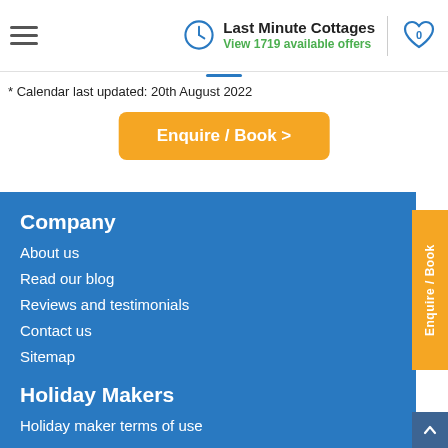Last Minute Cottages — View 1719 available offers
* Calendar last updated: 20th August 2022
Enquire / Book >
Company
About us
Read our blog
Reviews and testimonials
Contact us
Sitemap
Holiday Makers
Holiday maker terms of use